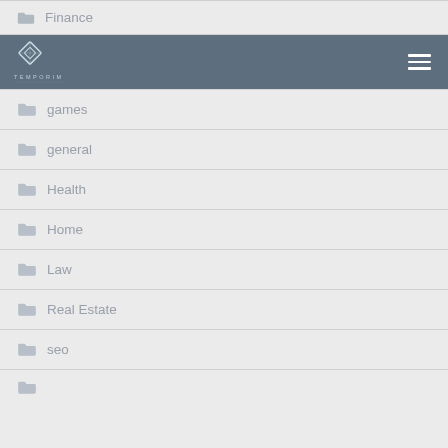Finance
[Figure (logo): Temporim logo with diamond/rhombus geometric icon and hamburger menu icon on dark blue-grey navigation bar]
games
general
Health
Home
Law
Real Estate
seo
(partial, cut off)